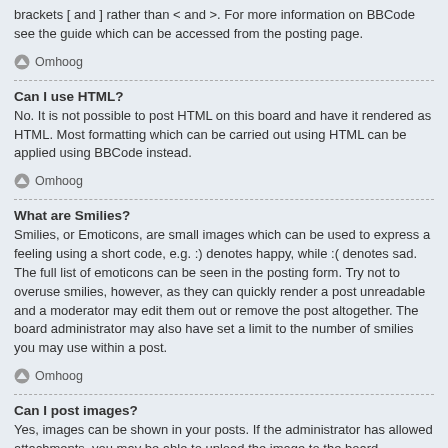brackets [ and ] rather than < and >. For more information on BBCode see the guide which can be accessed from the posting page.
Omhoog
Can I use HTML?
No. It is not possible to post HTML on this board and have it rendered as HTML. Most formatting which can be carried out using HTML can be applied using BBCode instead.
Omhoog
What are Smilies?
Smilies, or Emoticons, are small images which can be used to express a feeling using a short code, e.g. :) denotes happy, while :( denotes sad. The full list of emoticons can be seen in the posting form. Try not to overuse smilies, however, as they can quickly render a post unreadable and a moderator may edit them out or remove the post altogether. The board administrator may also have set a limit to the number of smilies you may use within a post.
Omhoog
Can I post images?
Yes, images can be shown in your posts. If the administrator has allowed attachments, you may be able to upload the image to the board. Otherwise, you must link to an image stored on a publicly accessible web server, e.g.